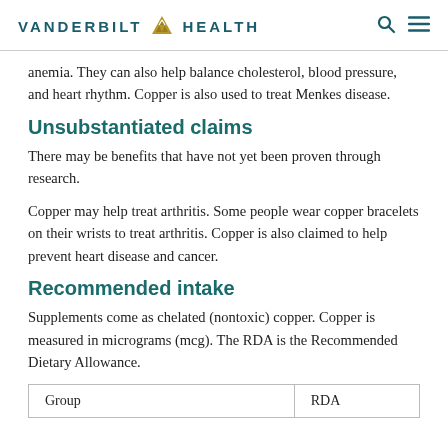VANDERBILT HEALTH
anemia. They can also help balance cholesterol, blood pressure, and heart rhythm. Copper is also used to treat Menkes disease.
Unsubstantiated claims
There may be benefits that have not yet been proven through research.
Copper may help treat arthritis. Some people wear copper bracelets on their wrists to treat arthritis. Copper is also claimed to help prevent heart disease and cancer.
Recommended intake
Supplements come as chelated (nontoxic) copper. Copper is measured in micrograms (mcg). The RDA is the Recommended Dietary Allowance.
| Group | RDA |
| --- | --- |